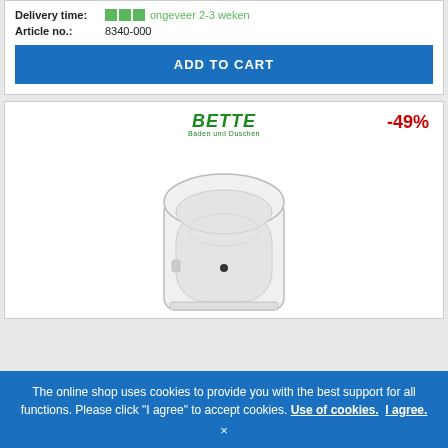Delivery time: ongeveer 2-3 weken
Article no.: 8340-000
ADD TO CART
[Figure (photo): White freestanding oval bathtub viewed from above, with BETTE brand logo and -49% discount badge]
The online shop uses cookies to provide you with the best support for all functions. Please click "I agree" to accept cookies. Use of cookies. I agree.